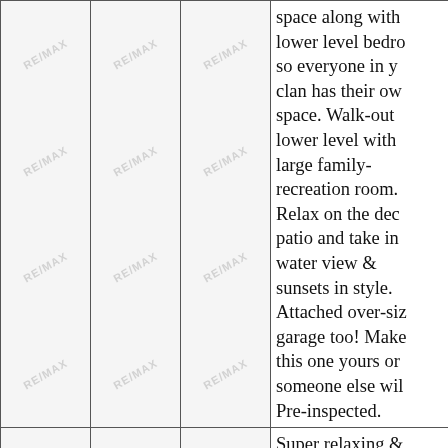|  |  |  | Description |
| --- | --- | --- | --- |
| [image] | [image] | [image] | space along with lower level bedrooms so everyone in your clan has their own space. Walk-out lower level with large family-recreation room. Relax on the deck patio and take in water view & sunsets in style. Attached over-sized garage too! Make this one yours or someone else will. Pre-inspected. |
| [image] | [image] | [image] | Super relaxing & comfortable 3BR/2BA home with deeded lake access to Lake |